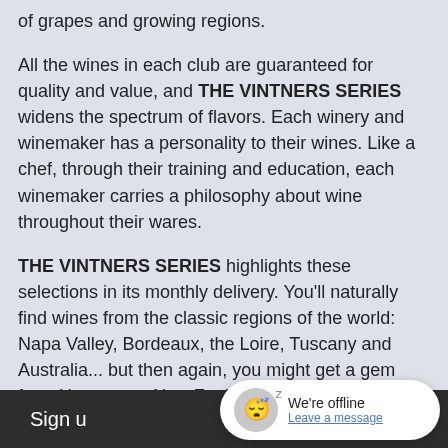of grapes and growing regions.

All the wines in each club are guaranteed for quality and value, and THE VINTNERS SERIES widens the spectrum of flavors. Each winery and winemaker has a personality to their wines. Like a chef, through their training and education, each winemaker carries a philosophy about wine throughout their wares.

THE VINTNERS SERIES highlights these selections in its monthly delivery. You'll naturally find wines from the classic regions of the world: Napa Valley, Bordeaux, the Loire, Tuscany and Australia... but then again, you might get a gem from Hungary or New Zealand. Maybe even a gorgeous Chardonnay from Virginia! I once watched in amazement the pruning of the vines in Millbrook, New York in the dead of winter in 3 feet of snow... talk about labor of love!
Sign up